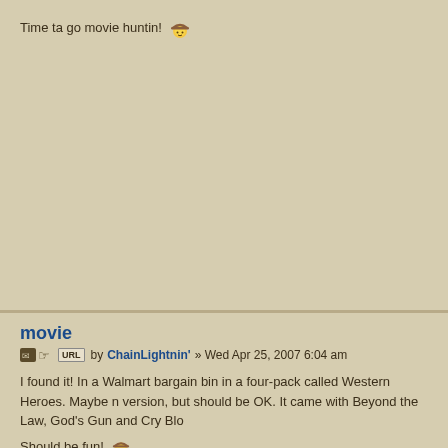Time ta go movie huntin! [cowboy emoji]
movie
by ChainLightnin' » Wed Apr 25, 2007 6:04 am
I found it! In a Walmart bargain bin in a four-pack called Western Heroes. Maybe n version, but should be OK. It came with Beyond the Law, God's Gun and Cry Blo
Should be fun! [cowboy emoji]
Chain